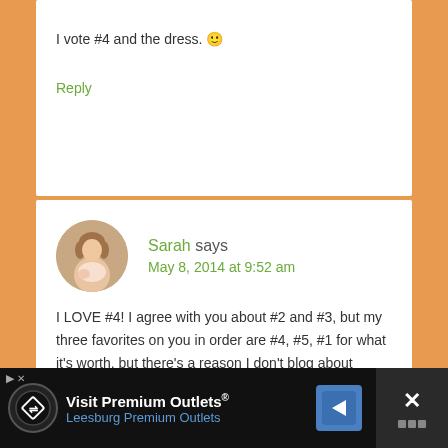I vote #4 and the dress. 🙂
Reply
Sarah says
May 8, 2014 at 9:52 am
I LOVE #4! I agree with you about #2 and #3, but my three favorites on you in order are #4, #5, #1 for what it's worth, but there's a reason I don't blog about fashion! 🙂
[Figure (other): Advertisement banner: Visit Premium Outlets® Leesburg Premium Outlets with logo and map pin icon]